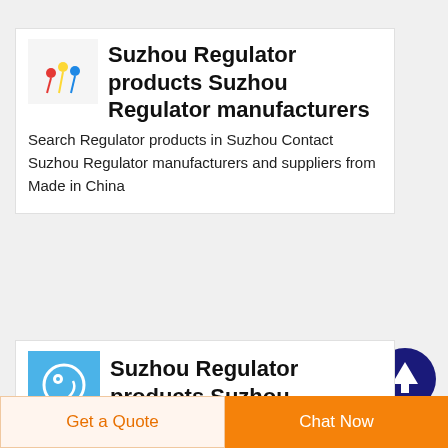[Figure (photo): Thumbnail image showing colored push pins on white background]
Suzhou Regulator products Suzhou Regulator manufacturers
Search Regulator products in Suzhou Contact Suzhou Regulator manufacturers and suppliers from Made in China
[Figure (logo): Blue square icon with circular design element]
Suzhou Regulator products Suzhou
[Figure (other): Dark navy circle with white upward arrow - scroll to top button]
Get a Quote
Chat Now